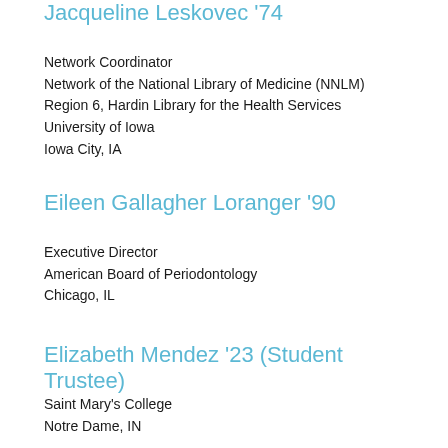Jacqueline Leskovec '74
Network Coordinator
Network of the National Library of Medicine (NNLM)
Region 6, Hardin Library for the Health Services
University of Iowa
Iowa City, IA
Eileen Gallagher Loranger '90
Executive Director
American Board of Periodontology
Chicago, IL
Elizabeth Mendez '23 (Student Trustee)
Saint Mary's College
Notre Dame, IN